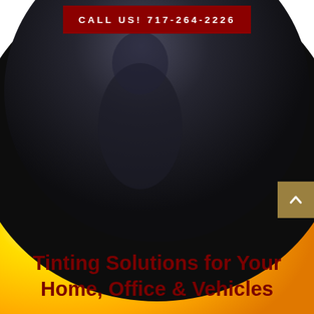[Figure (photo): Dark circular background with a person silhouette, dark tones suggesting a vehicle window tinting context]
CALL US! 717-264-2226
Tinting Solutions for Your Home, Office & Vehicles